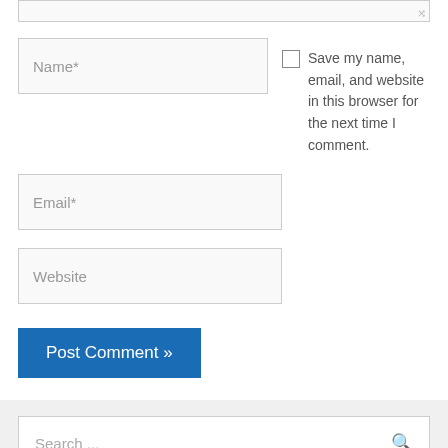[Figure (screenshot): Web comment form with Name, Email, Website text inputs, a checkbox for saving browser info, and a Post Comment button]
Name*
Save my name, email, and website in this browser for the next time I comment.
Email*
Website
Post Comment »
Search ...
Recent Posts